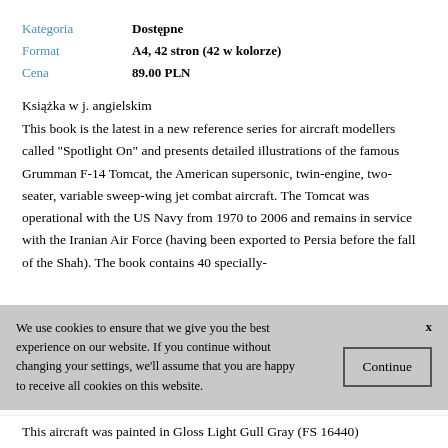| Kategoria | Dostępne |
| Format | A4, 42 stron (42 w kolorze) |
| Cena | 89.00 PLN |
Książka w j. angielskim
This book is the latest in a new reference series for aircraft modellers called "Spotlight On" and presents detailed illustrations of the famous Grumman F-14 Tomcat, the American supersonic, twin-engine, two-seater, variable sweep-wing jet combat aircraft. The Tomcat was operational with the US Navy from 1970 to 2006 and remains in service with the Iranian Air Force (having been exported to Persia before the fall of the Shah). The book contains 40 specially-
We use cookies to ensure that we give you the best experience on our website. If you continue without changing your settings, we'll assume that you are happy to receive all cookies on this website.
This aircraft was painted in Gloss Light Gull Gray (FS 16440)